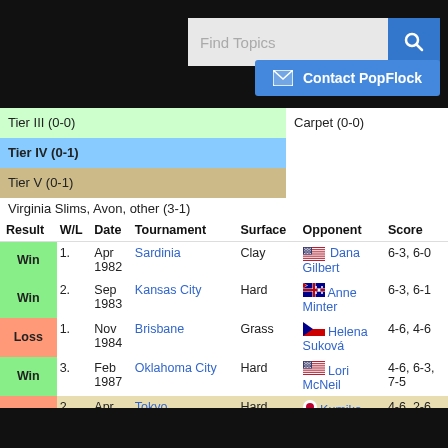Find Topics [search bar] Contact PopFlock
Tier III (0-0)    Carpet (0-0)
Tier IV (0-1)
Tier V (0-1)
Virginia Slims, Avon, other (3-1)
| Result | W/L | Date | Tournament | Surface | Opponent | Score |
| --- | --- | --- | --- | --- | --- | --- |
| Win | 1. | Apr 1982 | Sardinia | Clay | 🇺🇸 Dana Gilbert | 6-3, 6-0 |
| Win | 2. | Sep 1983 | Kansas City | Hard | 🇦🇺 Anne Minter | 6-3, 6-1 |
| Loss | 1. | Nov 1984 | Brisbane | Grass | 🇨🇿 Helena Suková | 4-6, 4-6 |
| Win | 3. | Feb 1987 | Oklahoma City | Hard | 🇺🇸 Lori McNeil | 4-6, 6-3, 7-5 |
| Loss | 2. | Apr 1989 | Tokyo | Hard | 🇯🇵 Kumiko Okamoto | 4-6, 2-6 |